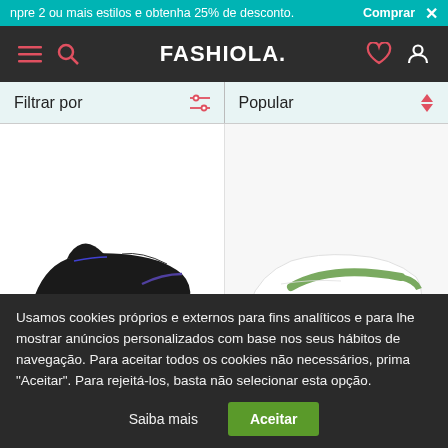npre 2 ou mais estilos e obtenha 25% de desconto. Comprar ×
[Figure (screenshot): Fashiola navigation bar with hamburger menu, search icon, FASHIOLA. logo, heart icon, and user icon on dark background]
Filtrar por | Popular
[Figure (photo): Black Nike sneaker (low-top) with white sole, viewed from the side]
[Figure (photo): White Nike Air Force 1 sneaker with sage green swoosh, viewed from the side]
59,99 €
Nike
99,99 €
Nike
Usamos cookies próprios e externos para fins analíticos e para lhe mostrar anúncios personalizados com base nos seus hábitos de navegação. Para aceitar todos os cookies não necessários, prima "Aceitar". Para rejeitá-los, basta não selecionar esta opção.
Saiba mais
Aceitar